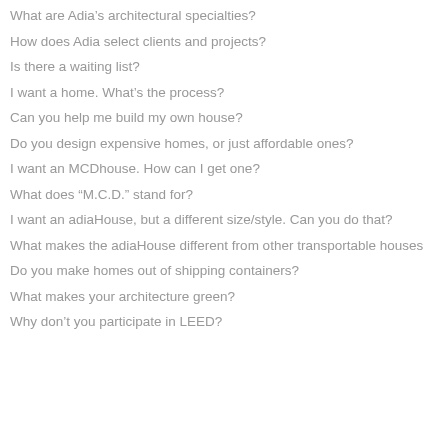What are Adia's architectural specialties?
How does Adia select clients and projects?
Is there a waiting list?
I want a home. What's the process?
Can you help me build my own house?
Do you design expensive homes, or just affordable ones?
I want an MCDhouse. How can I get one?
What does “M.C.D.” stand for?
I want an adiaHouse, but a different size/style. Can you do that?
What makes the adiaHouse different from other transportable houses
Do you make homes out of shipping containers?
What makes your architecture green?
Why don’t you participate in LEED?